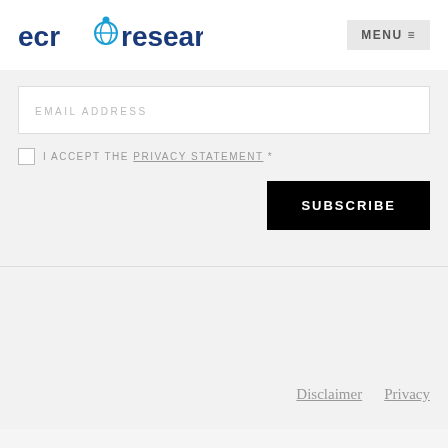[Figure (logo): ECR Research logo with blue globe/diamond icon between 'ecr' and 'research' text in dark blue]
MENU ☰
EMAIL ADDRESS
I ACCEPT THE PRIVACY STATEMENT *
SUBSCRIBE
Disclaimer   Privacy